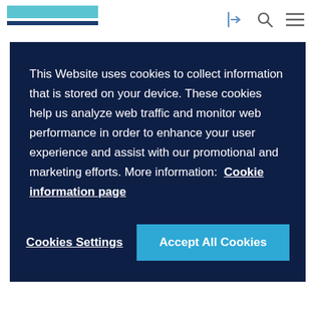This Website uses cookies to collect information that is stored on your device. These cookies help us analyze web traffic and monitor web performance in order to enhance your user experience and assist with our promotional and marketing efforts. More information: Cookie information page
Cookies Settings | Accept All Cookies
risk prevention and mitigation is something that every company will need to win back trust from consumers, employees and other stakeholders alike. My Care helps companies assess